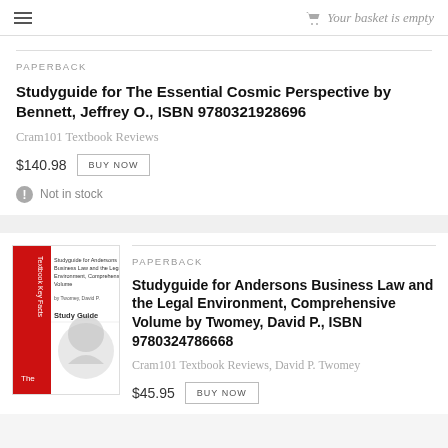Your basket is empty
PAPERBACK
Studyguide for The Essential Cosmic Perspective by Bennett, Jeffrey O., ISBN 9780321928696
Cram101 Textbook Reviews
$140.98
Not in stock
PAPERBACK
[Figure (photo): Book cover for Studyguide for Andersons Business Law and the Legal Environment, Comprehensive Volume by Twomey, David P. Published by Facts101/Cram101. Shows red and white cover with a head silhouette illustration.]
Studyguide for Andersons Business Law and the Legal Environment, Comprehensive Volume by Twomey, David P., ISBN 9780324786668
Cram101 Textbook Reviews, David P. Twomey
$45.95